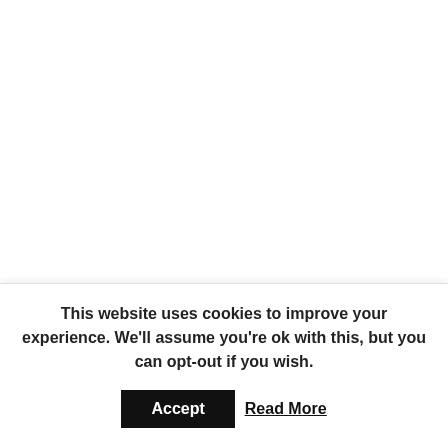I need to say this straight off, I am not advocating you all
This website uses cookies to improve your experience. We'll assume you're ok with this, but you can opt-out if you wish.
Accept   Read More